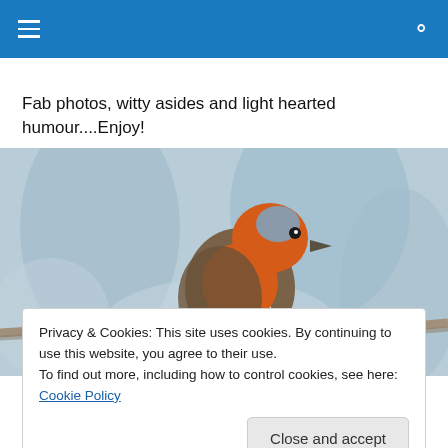Navigation header with hamburger menu and search icon
Fab photos, witty asides and light hearted humour....Enjoy!
[Figure (photo): A robin bird with an orange-red breast perched on a branch, set against a blurred grey-blue background]
Privacy & Cookies: This site uses cookies. By continuing to use this website, you agree to their use.
To find out more, including how to control cookies, see here: Cookie Policy
Close and accept